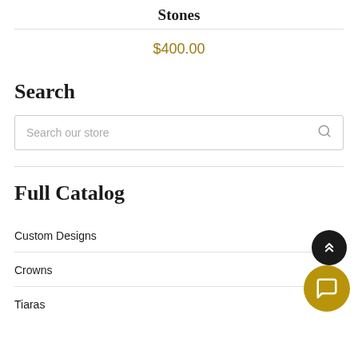Stones
$400.00
Search
Search our store
Full Catalog
Custom Designs
Crowns
Tiaras